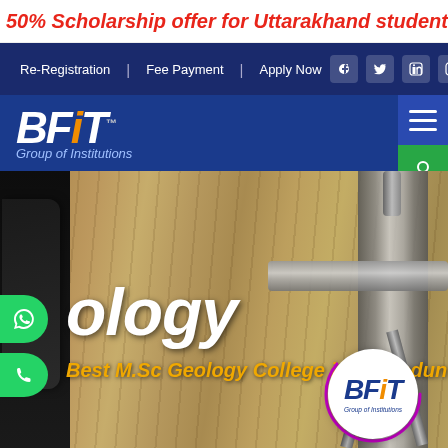50% Scholarship offer for Uttarakhand students. Apply N
Re-Registration | Fee Payment | Apply Now
[Figure (logo): BFiT Group of Institutions logo with blue background header bar and hamburger menu]
[Figure (photo): Hero section showing geology equipment (surveying instrument) over wooden background with text 'Geology' and 'Best M.Sc Geology College in Dehradun', BFiT circular logo bottom right]
Geology
Best M.Sc Geology College in Dehradun